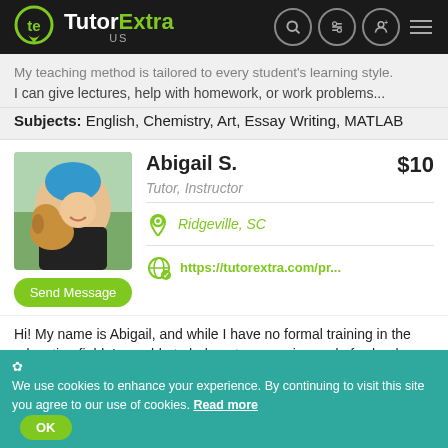TutorExtra US
My teaching method is tailored to every student's learning style. I can give lectures, help with homework, or work problems...
Subjects: English, Chemistry, Art, Essay Writing, MATLAB
[Figure (photo): Profile photo of Abigail S. holding a dog with blue hair, smiling outdoors]
Abigail S.
$10
Tutor, Instructor
Ridgeville, SC
https://tutorextra.com/pr...
Send Message
Hi! My name is Abigail, and while I have no formal training in the education field, I am able to help out anyone in need of school...
We use cookies to enhance your experience. By continuing to visit this site you agree to our use of cookies. Read more OK